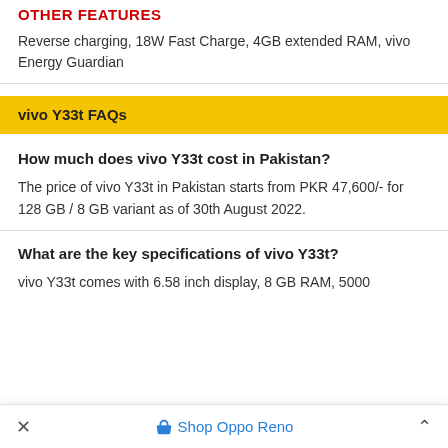OTHER FEATURES
Reverse charging, 18W Fast Charge, 4GB extended RAM, vivo Energy Guardian
vivo Y33t FAQs
How much does vivo Y33t cost in Pakistan?
The price of vivo Y33t in Pakistan starts from PKR 47,600/- for 128 GB / 8 GB variant as of 30th August 2022.
What are the key specifications of vivo Y33t?
vivo Y33t comes with 6.58 inch display, 8 GB RAM, 5000
Shop Oppo Reno